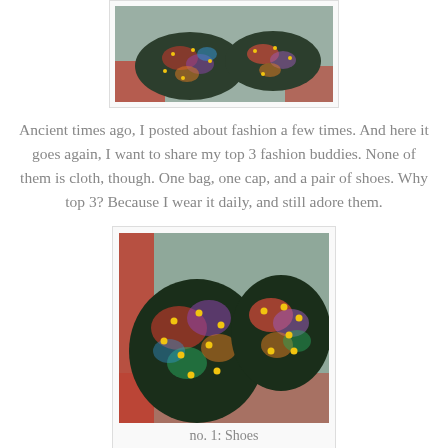[Figure (photo): Close-up top-down photo of floral tapestry shoes with gold studs resting on a red surface, partially visible at the top of the page.]
Ancient times ago, I posted about fashion a few times. And here it goes again, I want to share my top 3 fashion buddies. None of them is cloth, though. One bag, one cap, and a pair of shoes. Why top 3? Because I wear it daily, and still adore them.
[Figure (photo): Close-up photo of a pair of floral tapestry slip-on shoes with gold studs, viewed from above, placed on a red surface.]
no. 1: Shoes